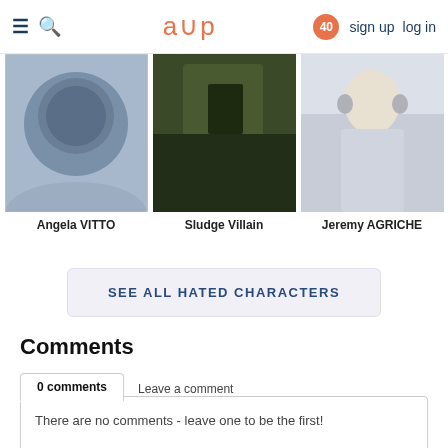≡ 🔍  acp  40  sign up  log in
[Figure (illustration): Three anime character card thumbnails: Angela VITTO (blue/grey circular design), Sludge Villain (green dark scene), Jeremy AGRICHE (light-haired character)]
Angela VITTO
Sludge Villain
Jeremy AGRICHE
SEE ALL HATED CHARACTERS
Comments
0 comments
Leave a comment
There are no comments - leave one to be the first!